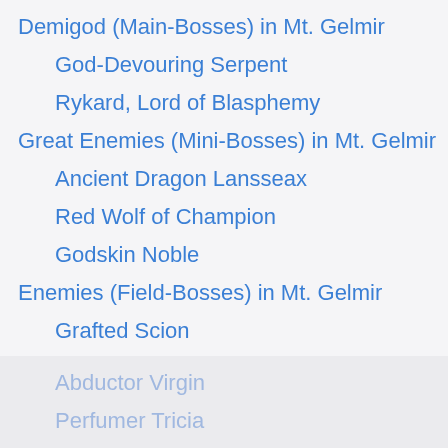Demigod (Main-Bosses) in Mt. Gelmir
God-Devouring Serpent
Rykard, Lord of Blasphemy
Great Enemies (Mini-Bosses) in Mt. Gelmir
Ancient Dragon Lansseax
Red Wolf of Champion
Godskin Noble
Enemies (Field-Bosses) in Mt. Gelmir
Grafted Scion
Erdtree Burial Watchdog
Demi-Human Queen Margot
Demi-Human Queen Maggie
Full-Grown Fallingstar Beast
Kindred of Rot
Ulcerated Tree Sprit
Abductor Virgin
Perfumer Tricia